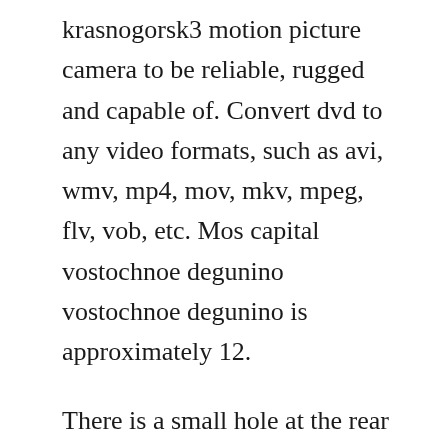krasnogorsk3 motion picture camera to be reliable, rugged and capable of. Convert dvd to any video formats, such as avi, wmv, mp4, mov, mkv, mpeg, flv, vob, etc. Mos capital vostochnoe degunino vostochnoe degunino is approximately 12.
There is a small hole at the rear of the camera where a cable release screws in. Press and release firmly and smoothly, and one frame of film will be exposed. Posted april 10, 2017 i like the new cherno it looks like a real city instead of just a bunch of buildings hastily put